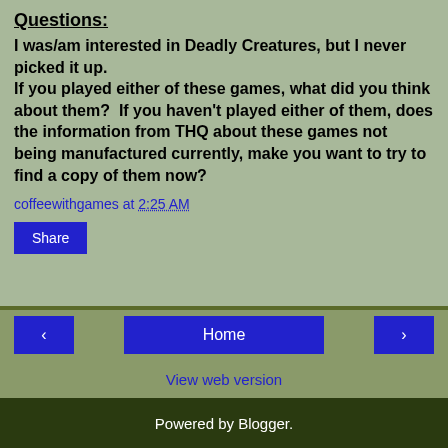Questions:
I was/am interested in Deadly Creatures, but I never picked it up.
If you played either of these games, what did you think about them?  If you haven't played either of them, does the information from THQ about these games not being manufactured currently, make you want to try to find a copy of them now?
coffeewithgames at 2:25 AM
Share
< Home > View web version Powered by Blogger.